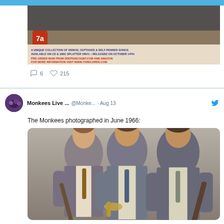[Figure (screenshot): Top portion of a tweet showing an album advertisement image for a Monkees record. Text reads: 'A UNIQUE COLLECTION OF DEMOS, OUTTAKES & SELF-PENNED SONGS AVAILABLE ON CD & 180G SPLATTER VINYL • RELEASED ON OCTOBER 14TH' and 'PRE-ORDER NOW FROM DEEPDISCOUNT.COM AND AMAZON FOR MORE INFORMATION VISIT WWW.7ARECORDS.COM']
6   215
Monkees Live ... @Monke... · Aug 13
The Monkees photographed in June 1966:
[Figure (photo): Black and white promotional photo of three members of The Monkees in suits holding musical instruments, photographed in June 1966]